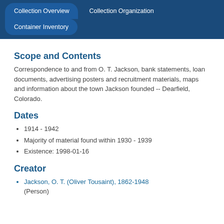Collection Overview | Collection Organization | Container Inventory
Scope and Contents
Correspondence to and from O. T. Jackson, bank statements, loan documents, advertising posters and recruitment materials, maps and information about the town Jackson founded -- Dearfield, Colorado.
Dates
1914 - 1942
Majority of material found within 1930 - 1939
Existence: 1998-01-16
Creator
Jackson, O. T. (Oliver Tousaint), 1862-1948 (Person)